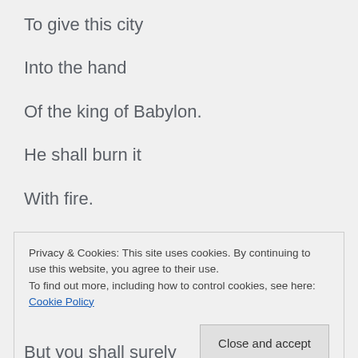To give this city
Into the hand
Of the king of Babylon.
He shall burn it
With fire.
Privacy & Cookies: This site uses cookies. By continuing to use this website, you agree to their use.
To find out more, including how to control cookies, see here: Cookie Policy
Close and accept
But you shall surely